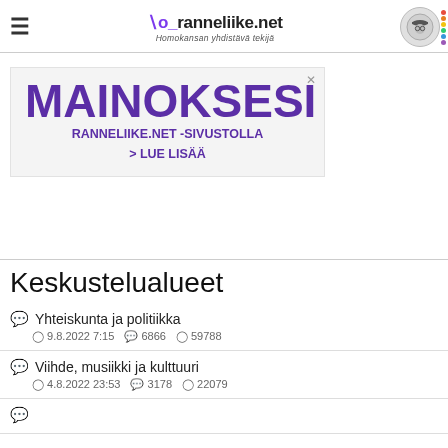ranneliike.net — Homokansan yhdistävä tekijä
[Figure (other): Advertisement banner: MAINOKSESI RANNELIIKE.NET -SIVUSTOLLA > LUE LISÄÄ]
Keskustelualueet
Yhteiskunta ja politiikka — 9.8.2022 7:15 · 6866 threads · 59788 posts
Viihde, musiikki ja kulttuuri — 4.8.2022 23:53 · 3178 threads · 22079 posts